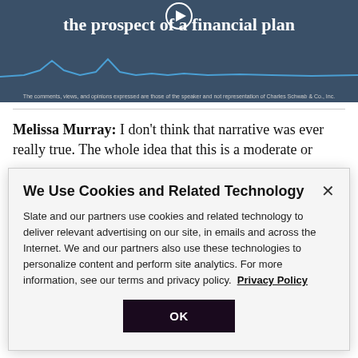[Figure (screenshot): Dark teal/navy banner with a circular play button icon at top center, bold white serif text reading 'the prospect of a financial plan', and a blue audio waveform line at the bottom of the banner.]
The comments, views, and opinions expressed are those of the speaker and not representation of Charles Schwab & Co., Inc.
Melissa Murray: I don't think that narrative was ever really true. The whole idea that this is a moderate or
We Use Cookies and Related Technology
Slate and our partners use cookies and related technology to deliver relevant advertising on our site, in emails and across the Internet. We and our partners also use these technologies to personalize content and perform site analytics. For more information, see our terms and privacy policy.  Privacy Policy
OK